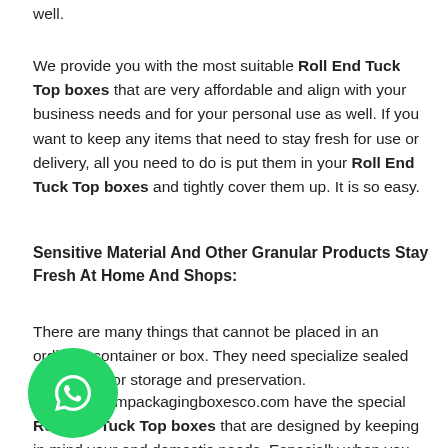well.
We provide you with the most suitable Roll End Tuck Top boxes that are very affordable and align with your business needs and for your personal use as well. If you want to keep any items that need to stay fresh for use or delivery, all you need to do is put them in your Roll End Tuck Top boxes and tightly cover them up. It is so easy.
Sensitive Material And Other Granular Products Stay Fresh At Home And Shops:
There are many things that cannot be placed in an ordinary container or box. They need specialize sealed packaging for storage and preservation.
We at custompackagingboxesco.com have the special Roll End Tuck Top boxes that are designed by keeping in mind your and domestic needs. Especially when you are dealing with granular material that includes grains and other items that come in fragments,the Roll End Tuck Top boxes are the best option that you
[Figure (logo): WhatsApp floating button icon — green circle with white phone/chat logo]